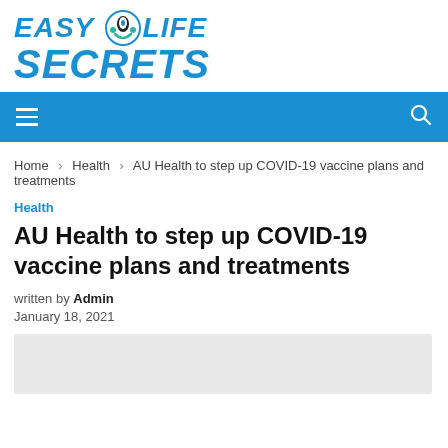[Figure (logo): Easy Life Secrets logo with stylized text and icon]
Navigation bar with hamburger menu and search icon
Home > Health > AU Health to step up COVID-19 vaccine plans and treatments
Health
AU Health to step up COVID-19 vaccine plans and treatments
written by Admin
January 18, 2021
[Figure (photo): Gray image placeholder]